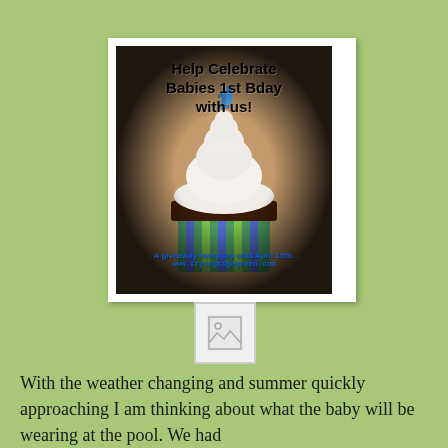[Figure (photo): Polaroid-style photo of a cupcake with white frosting and a blue '1' candle topper, on a decorative wallpaper background. Text overlay reads 'Help Celebrate Babies 1st Bday with us!' and 'A giveaway everyday until April 15th. www.tryingtogogreen.com']
[Figure (photo): Small broken image icon placeholder]
With the weather changing and summer quickly approaching I am thinking about what the baby will be wearing at the pool. We had